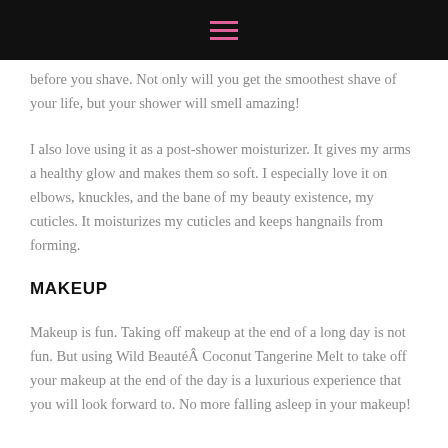☰
before you shave. Not only will you get the smoothest shave of your life, but your shower will smell amazing!
I also love using it as a post-shower moisturizer. It gives my arms a healthy glow and makes them so soft. I especially love it on elbows, knuckles, and the bane of my beauty existence, my cuticles. It moisturizes my cuticles and keeps hangnails from forming.
MAKEUP
Makeup is fun. Taking off makeup at the end of a long day is not fun. But using Wild BeautéÂ Coconut Tangerine Melt to take off your makeup at the end of the day is a luxurious experience that you will look forward to. No more falling asleep in your makeup!